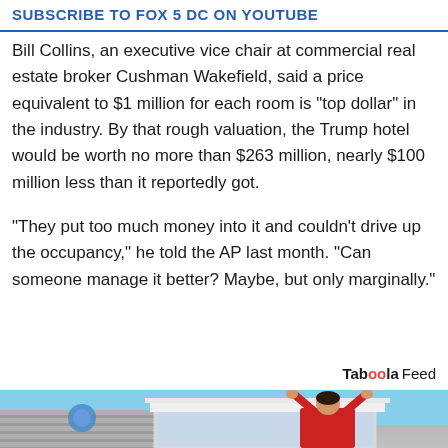SUBSCRIBE TO FOX 5 DC ON YOUTUBE
Bill Collins, an executive vice chair at commercial real estate broker Cushman Wakefield, said a price equivalent to $1 million for each room is "top dollar" in the industry. By that rough valuation, the Trump hotel would be worth no more than $263 million, nearly $100 million less than it reportedly got.
"They put too much money into it and couldn't drive up the occupancy," he told the AP last month. "Can someone manage it better? Maybe, but only marginally."
Taboola Feed
[Figure (photo): Person in red shirt installing or working on exterior of a house, viewed from below against blue sky]